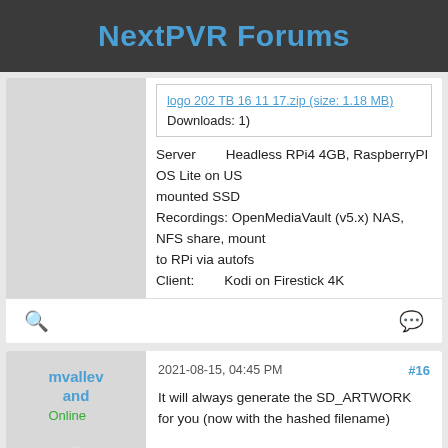NextPVR Forums
logo 202 TB 16 11 17.zip (size: 1.18 MB)
Downloads: 1)
Server        Headless RPi4 4GB, RaspberryPI OS Lite on US mounted SSD
Recordings: OpenMediaVault (v5.x) NAS, NFS share, mounted to RPi via autofs
Client:         Kodi on Firestick 4K
mvallev and
Online
2021-08-15, 04:45 PM
#16
It will always generate the SD_ARTWORK for you (now with the hashed filename)

That error is likely related to deleting the